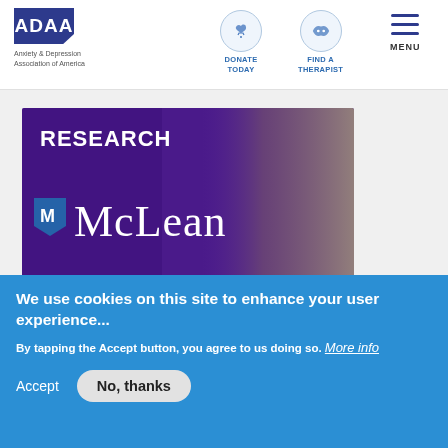[Figure (logo): ADAA logo - blue pentagon/shield shape with white ADAA text, and tagline 'Anxiety & Depression Association of America']
DONATE TODAY
FIND A THERAPIST
MENU
[Figure (photo): McLean Research banner image showing the McLean hospital logo (shield with M) and the word 'McLean' in white serif font, with a person visible on the right side, on a purple background with 'RESEARCH' text above]
We use cookies on this site to enhance your user experience...
By tapping the Accept button, you agree to us doing so. More info
Accept
No, thanks